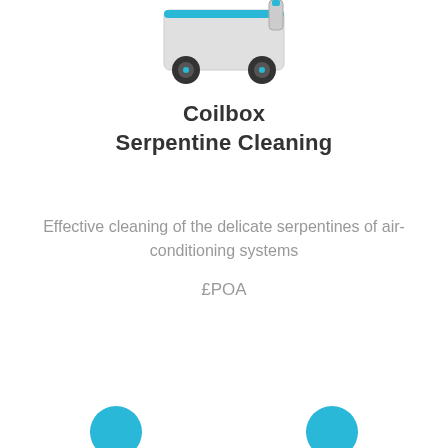[Figure (photo): Partial view of a Coilbox Serpentine Cleaning device — mechanical equipment with wheels and metallic components, cropped at top of page]
Coilbox Serpentine Cleaning
Effective cleaning of the delicate serpentines of air-conditioning systems
£POA
VIEW DETAILS
[Figure (other): Two partially visible circular blue navigation/action buttons at the bottom of the page]